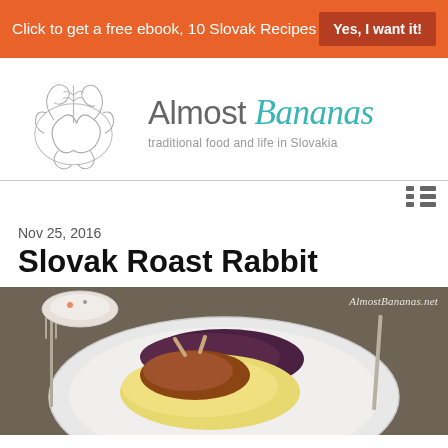Click to get a free ebook, 10 Slovak Recipes   Yes, I want it!
[Figure (logo): Almost Bananas blog logo — decorative scrollwork illustration on left, text 'Almost Bananas' with tagline 'traditional food and life in Slovakia' on right]
Nov 25, 2016
Slovak Roast Rabbit
[Figure (photo): Food photograph of Slovak roast rabbit on a white plate with red cabbage and mashed potatoes, fork and knife visible, watermark reads AlmostBananas.net]